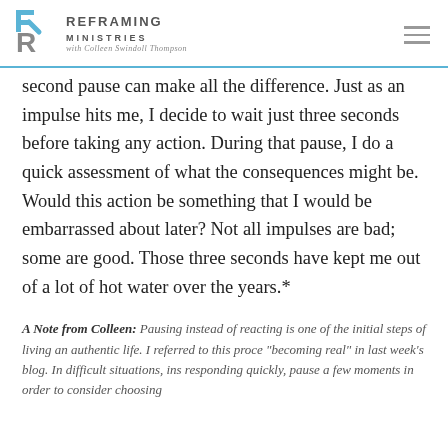Reframing Ministries with Colleen Swindoll Thompson
...get practical. I have found that a three second pause can make all the difference. Just as an impulse hits me, I decide to wait just three seconds before taking any action. During that pause, I do a quick assessment of what the consequences might be. Would this action be something that I would be embarrassed about later? Not all impulses are bad; some are good. Those three seconds have kept me out of a lot of hot water over the years.*
A Note from Colleen: Pausing instead of reacting is one of the initial steps of living an authentic life. I referred to this proce... "becoming real" in last week's blog. In difficult situations, ins... responding quickly, pause a few moments in order to consider choosing...